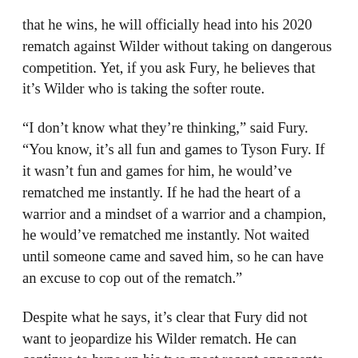that he wins, he will officially head into his 2020 rematch against Wilder without taking on dangerous competition. Yet, if you ask Fury, he believes that it's Wilder who is taking the softer route.
“I don’t know what they’re thinking,” said Fury. “You know, it’s all fun and games to Tyson Fury. If it wasn’t fun and games for him, he would’ve rematched me instantly. If he had the heart of a warrior and a mindset of a warrior and a champion, he would’ve rematched me instantly. Not waited until someone came and saved him, so he can have an excuse to cop out of the rematch.”
Despite what he says, it’s clear that Fury did not want to jeopardize his Wilder rematch. He can continue to hype up his two most recent opponents as much as he wants but fans understand exactly